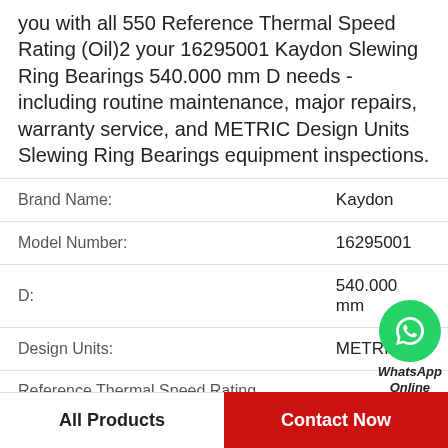you with all 550 Reference Thermal Speed Rating (Oil)2 your 16295001 Kaydon Slewing Ring Bearings 540.000 mm D needs - including routine maintenance, major repairs, warranty service, and METRIC Design Units Slewing Ring Bearings equipment inspections.
| Field | Value |
| --- | --- |
| Brand Name: | Kaydon |
| Model Number: | 16295001 |
| D: | 540.000 mm |
| Design Units: | METRIC |
| Reference Thermal Speed Rating (Oil)2: | 550 |
| Tapered Bore: | N |
| Reference Thermal Speed Rating (Grease): | 510 |
All Products
Contact Now